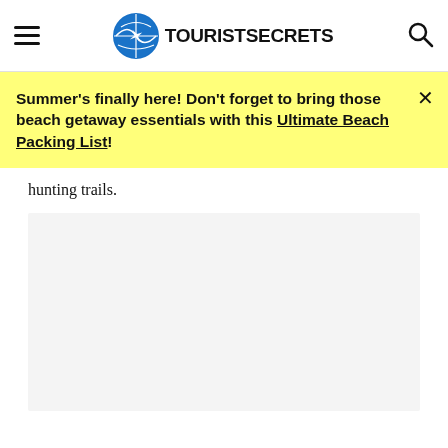TOURIST SECRETS
Summer's finally here! Don't forget to bring those beach getaway essentials with this Ultimate Beach Packing List!
hunting trails.
[Figure (photo): Large image placeholder area below the article text]